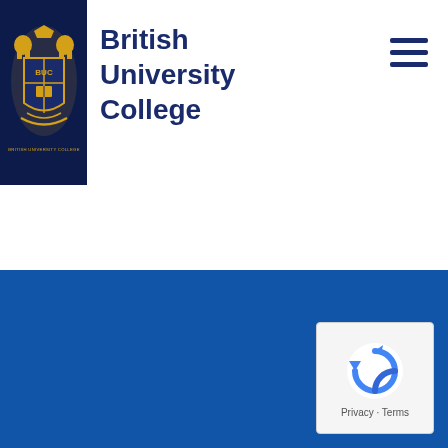[Figure (logo): British University College crest/shield logo on dark navy background with gold heraldic design and 'BRITISH UNIVERSITY COLLEGE' text at bottom]
British University College
[Figure (other): Hamburger menu icon (three horizontal dark navy lines)]
[Figure (other): Blue solid footer background area]
[Figure (other): Google reCAPTCHA widget with recycling arrow logo and 'Privacy · Terms' text]